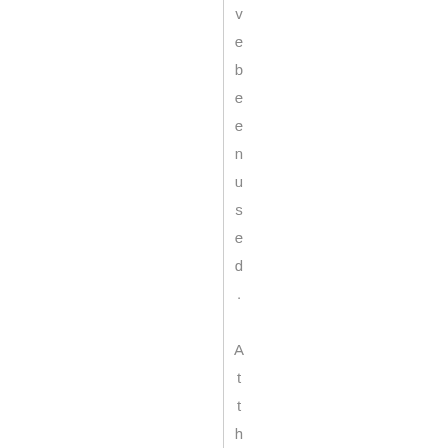ve been used. At the hearing. H